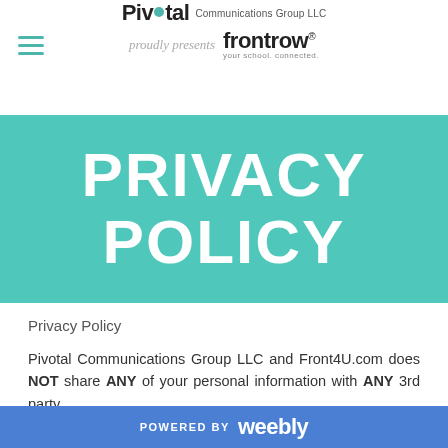Pivotal Communications Group LLC proudly presents frontrow your school. connected.
PRIVACY POLICY
Privacy Policy
Pivotal Communications Group LLC and Front4U.com does NOT share ANY of your personal information with ANY 3rd party.
This website uses Google Analytics, a web analytics service provided by Google, Inc. (“Google”). Google Analytics uses
POWERED BY weebly